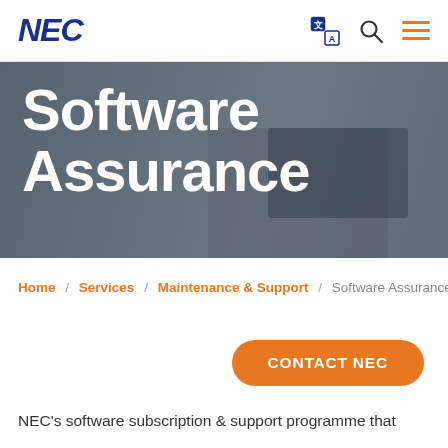NEC — Software Assurance page header with navigation icons
[Figure (photo): Hero banner showing a person working at a computer desk with monitors, overlaid with dark transparent background]
Software Assurance
Home / Services / Maintenance & Support / Software Assurance
CONTACT NEC
NEC's software subscription & support programme that